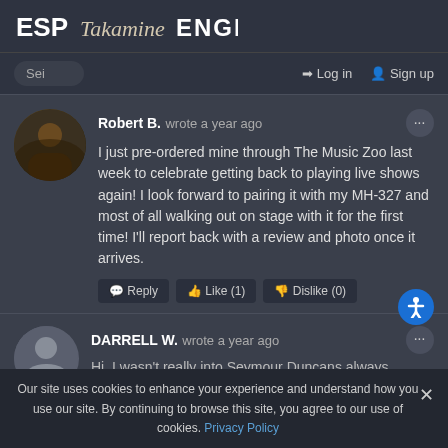[Figure (logo): ESP, Takamine, and ENGL brand logos in header bar]
Sei  Log in  Sign up
Robert B.  wrote a year ago
I just pre-ordered mine through The Music Zoo last week to celebrate getting back to playing live shows again! I look forward to pairing it with my MH-327 and most of all walking out on stage with it for the first time! I'll report back with a review and photo once it arrives.
Reply  Like (1)  Dislike (0)
DARRELL W.  wrote a year ago
Hi, I wasn't really into Seymour Duncans always...
Our site uses cookies to enhance your experience and understand how you use our site. By continuing to browse this site, you agree to our use of cookies. Privacy Policy